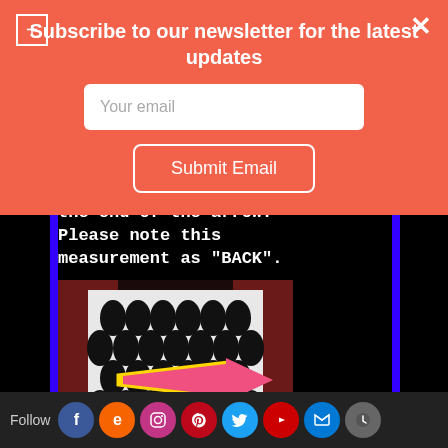Subscribe to our newsletter for the latest updates
Your email
Submit Email
the end of the arrow! Please note this measurement as "BACK".
[Figure (photo): Person wearing black and white patterned jacket viewed from back, with a pink/yellow arrow pointing right across the back, flanked by blue vertical bars.]
Follow